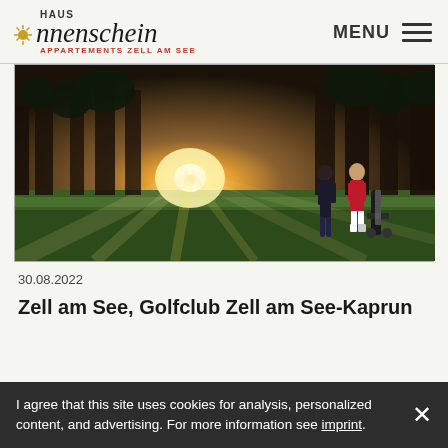HAUS Sonnenschein APPARTEMENTS ZELL AM SEE | MENU
[Figure (photo): Two golfers walking on a golf course at sunset with rays of light through trees, one carrying a golf bag trolley. Green fairway, dramatic light.]
30.08.2022
Zell am See, Golfclub Zell am See-Kaprun
I agree that this site uses cookies for analysis, personalized content, and advertising. For more information see imprint.